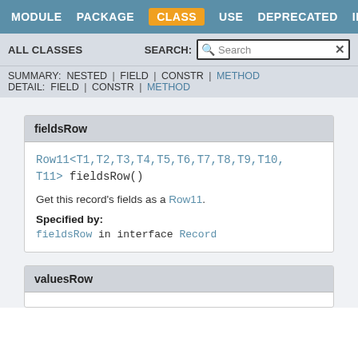MODULE  PACKAGE  CLASS  USE  DEPRECATED  INDEX  HELP
ALL CLASSES   SEARCH: [Search]
SUMMARY: NESTED | FIELD | CONSTR | METHOD
DETAIL: FIELD | CONSTR | METHOD
fieldsRow
Row11<T1,T2,T3,T4,T5,T6,T7,T8,T9,T10,T11> fieldsRow()
Get this record's fields as a Row11.
Specified by:
fieldsRow in interface Record
valuesRow